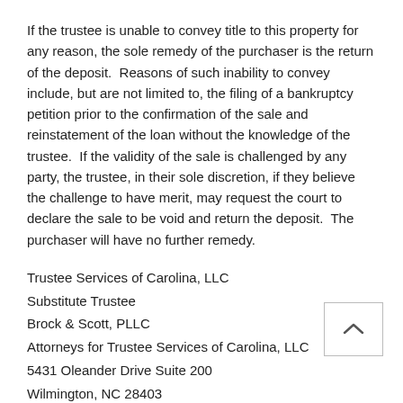If the trustee is unable to convey title to this property for any reason, the sole remedy of the purchaser is the return of the deposit.  Reasons of such inability to convey include, but are not limited to, the filing of a bankruptcy petition prior to the confirmation of the sale and reinstatement of the loan without the knowledge of the trustee.  If the validity of the sale is challenged by any party, the trustee, in their sole discretion, if they believe the challenge to have merit, may request the court to declare the sale to be void and return the deposit.  The purchaser will have no further remedy.
Trustee Services of Carolina, LLC
Substitute Trustee
Brock & Scott, PLLC
Attorneys for Trustee Services of Carolina, LLC
5431 Oleander Drive Suite 200
Wilmington, NC 28403
PHONE: (910) 392-4988
FAX: (910) 392-8587